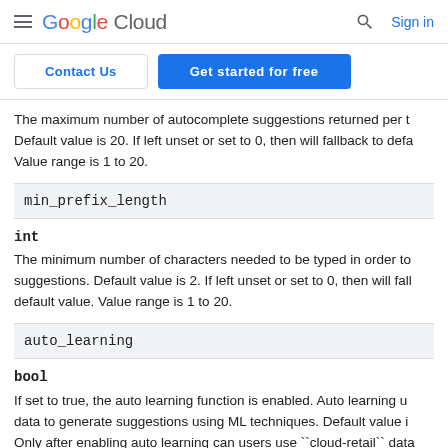Google Cloud | Contact Us | Get started for free | Sign in
The maximum number of autocomplete suggestions returned per t Default value is 20. If left unset or set to 0, then will fallback to defa Value range is 1 to 20.
| min_prefix_length |
| --- |
int
The minimum number of characters needed to be typed in order to suggestions. Default value is 2. If left unset or set to 0, then will fall default value. Value range is 1 to 20.
| auto_learning |
| --- |
bool
If set to true, the auto learning function is enabled. Auto learning u data to generate suggestions using ML techniques. Default value i Only after enabling auto learning can users use ``cloud-retail`` data CompleteQueryRequest.